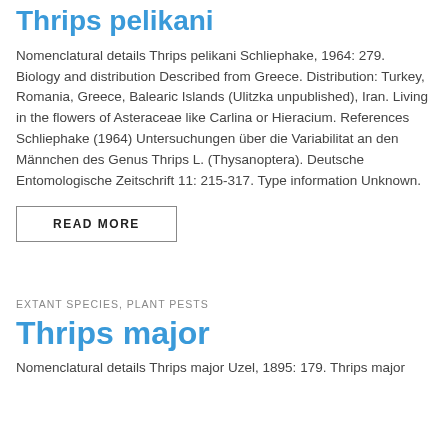Thrips pelikani
Nomenclatural details Thrips pelikani Schliephake, 1964: 279. Biology and distribution Described from Greece. Distribution: Turkey, Romania, Greece, Balearic Islands (Ulitzka unpublished), Iran. Living in the flowers of Asteraceae like Carlina or Hieracium. References Schliephake (1964) Untersuchungen über die Variabilitat an den Männchen des Genus Thrips L. (Thysanoptera). Deutsche Entomologische Zeitschrift 11: 215-317. Type information Unknown.
READ MORE
EXTANT SPECIES, PLANT PESTS
Thrips major
Nomenclatural details Thrips major Uzel, 1895: 179. Thrips major